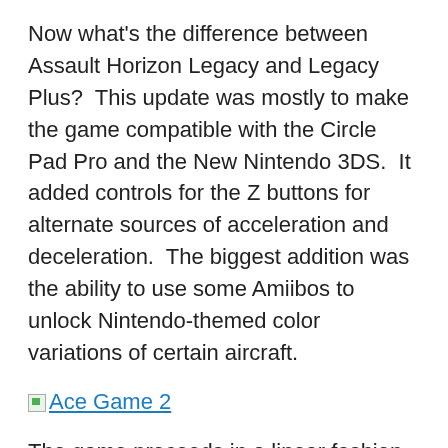Now what's the difference between Assault Horizon Legacy and Legacy Plus?  This update was mostly to make the game compatible with the Circle Pad Pro and the New Nintendo 3DS.  It added controls for the Z buttons for alternate sources of acceleration and deceleration.  The biggest addition was the ability to use some Amiibos to unlock Nintendo-themed color variations of certain aircraft.
Ace Game 2
The game proceeds in a linear fashion with unlocking mission after mission, similar to how it works in Joint Assault, but with less choices.  When you select a mission, you go into an unlocked aircraft and go into battle, which takes place in a large 3D arena where you